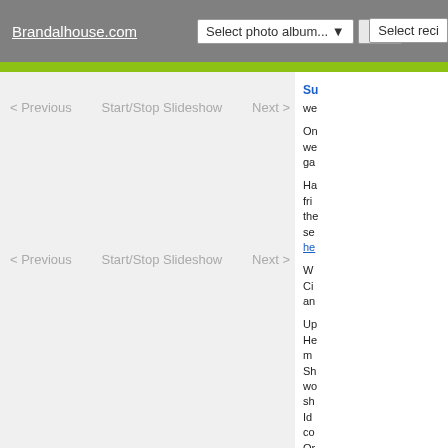Brandalhouse.com | Select photo album... | Go! | Select reci
< Previous   Start/Stop Slideshow   Next >
< Previous   Start/Stop Slideshow   Next >
Su we
On we ga
Ha fri the se he
W Ci an
Up He m Sh wo sh Id co Or an
M ca ca
W